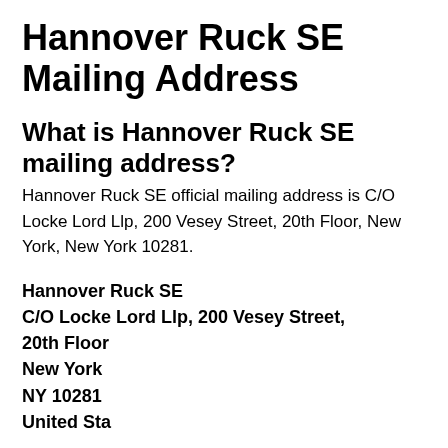Hannover Ruck SE Mailing Address
What is Hannover Ruck SE mailing address?
Hannover Ruck SE official mailing address is C/O Locke Lord Llp, 200 Vesey Street, 20th Floor, New York, New York 10281.
Hannover Ruck SE
C/O Locke Lord Llp, 200 Vesey Street, 20th Floor
New York
NY 10281
United States